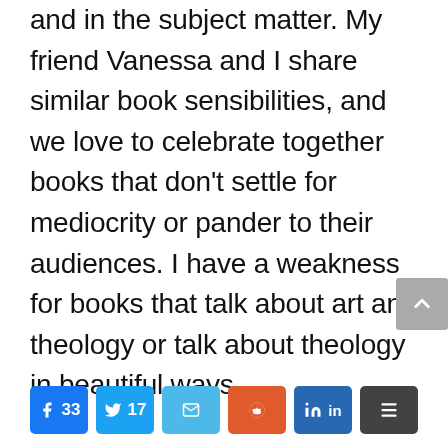and in the subject matter. My friend Vanessa and I share similar book sensibilities, and we love to celebrate together books that don't settle for mediocrity or pander to their audiences. I have a weakness for books that talk about art and theology or talk about theology in beautiful ways.
[Figure (other): Social share buttons: Facebook (33), Twitter (17), Email, Reddit, LinkedIn, More]